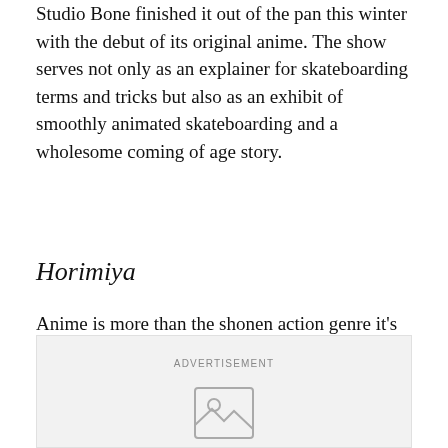Studio Bone finished it out of the pan this winter with the debut of its original anime. The show serves not only as an explainer for skateboarding terms and tricks but also as an exhibit of smoothly animated skateboarding and a wholesome coming of age story.
Horimiya
Anime is more than the shonen action genre it's most associated with. Sometimes anime can be sweet. And the cloying love stories in Horimiya are enough to put a dentist in cardiac arrest.
[Figure (other): Advertisement placeholder box with 'ADVERTISEMENT' label and an image placeholder icon]